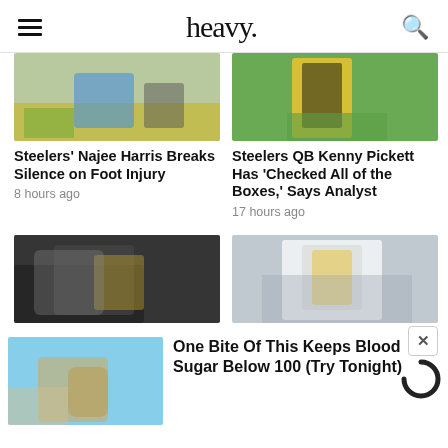heavy.
[Figure (photo): Football players on field, Steelers game]
[Figure (photo): Steelers QB in yellow uniform on green field]
Steelers' Najee Harris Breaks Silence on Foot Injury
8 hours ago
Steelers QB Kenny Pickett Has 'Checked All of the Boxes,' Says Analyst
17 hours ago
[Figure (photo): Steelers players in helmets and black jerseys]
[Figure (photo): Steelers QB in white uniform]
[Figure (photo): Person holding food item]
One Bite Of This Keeps Blood Sugar Below 100 (Try Tonight)